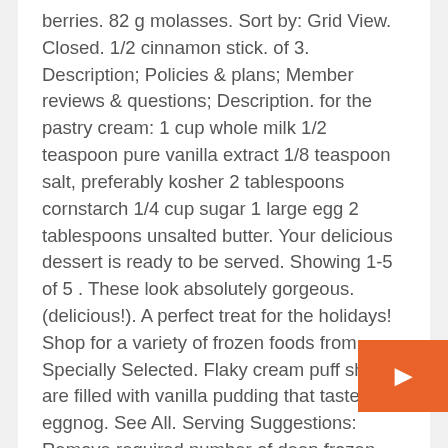berries. 82 g molasses. Sort by: Grid View. Closed. 1/2 cinnamon stick. of 3. Description; Policies & plans; Member reviews & questions; Description. for the pastry cream: 1 cup whole milk 1/2 teaspoon pure vanilla extract 1/8 teaspoon salt, preferably kosher 2 tablespoons cornstarch 1/4 cup sugar 1 large egg 2 tablespoons unsalted butter. Your delicious dessert is ready to be served. Showing 1-5 of 5 . These look absolutely gorgeous. (delicious!). A perfect treat for the holidays! Shop for a variety of frozen foods from Specially Selected. Flaky cream puff shells are filled with vanilla pudding that tastes like eggnog. See All. Serving Suggestions: Remove required number of deep frozen cream puffs and arrange on a serving dish. The Ultimate Chicken Pot Pie. See ingredients, nutrition, and other product information here . I've always made and served them on the same day, though, so I'm wondering what is the best strategy, to retain the best texture